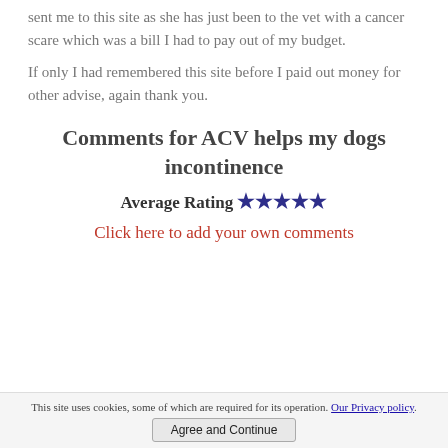sent me to this site as she has just been to the vet with a cancer scare which was a bill I had to pay out of my budget.
If only I had remembered this site before I paid out money for other advise, again thank you.
Comments for ACV helps my dogs incontinence
Average Rating ★★★★★
Click here to add your own comments
This site uses cookies, some of which are required for its operation. Our Privacy policy. Agree and Continue